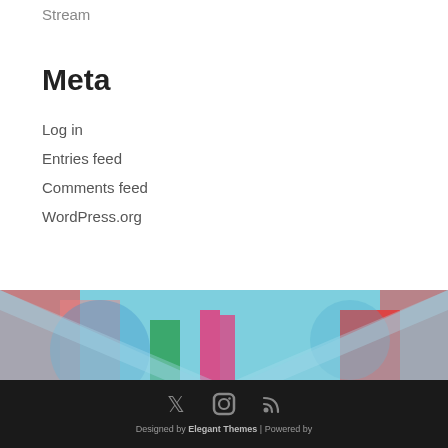Stream
Meta
Log in
Entries feed
Comments feed
WordPress.org
[Figure (illustration): Decorative banner image with colorful abstract artwork and overlapping semi-transparent chevron/triangle shapes pointing downward, with blues, pinks, reds and greens]
Designed by Elegant Themes | Powered by (WordPress) — with Twitter, Instagram, and RSS social icons